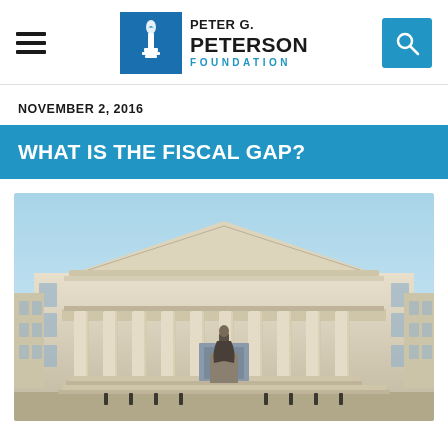Peter G. Peterson Foundation
NOVEMBER 2, 2016
WHAT IS THE FISCAL GAP?
[Figure (photo): Photograph of the US Treasury Building facade with classical Greek Revival architecture, large columns, pediment, and a statue of Albert Gallatin in the foreground, against a blue sky.]